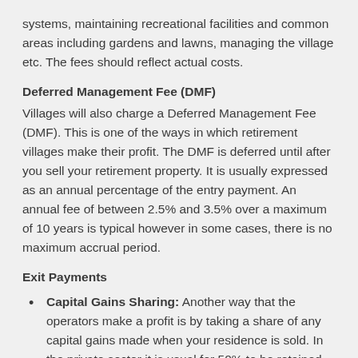systems, maintaining recreational facilities and common areas including gardens and lawns, managing the village etc. The fees should reflect actual costs.
Deferred Management Fee (DMF)
Villages will also charge a Deferred Management Fee (DMF). This is one of the ways in which retirement villages make their profit. The DMF is deferred until after you sell your retirement property. It is usually expressed as an annual percentage of the entry payment. An annual fee of between 2.5% and 3.5% over a maximum of 10 years is typical however in some cases, there is no maximum accrual period.
Exit Payments
Capital Gains Sharing: Another way that the operators make a profit is by taking a share of any capital gains made when your residence is sold. In the private sector it is usual for 50% to be retained and in the not-for-profit